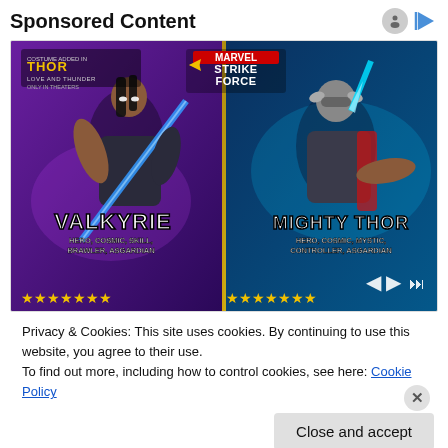Sponsored Content
[Figure (illustration): Marvel Strike Force game advertisement showing Valkyrie and Mighty Thor characters. Left half shows Valkyrie with a blue sword, labeled 'HERO, COSMIC, SKILL, BRAWLER, ASGARDIAN' with gold stars. Right half shows Mighty Thor with lightning, labeled 'HERO, COSMIC, MYSTIC, CONTROLLER, ASGARDIAN' with gold stars. Top left has Thor: Love and Thunder logo, top center has Marvel Strike Force logo. Bottom shows navigation arrows and star ratings.]
Privacy & Cookies: This site uses cookies. By continuing to use this website, you agree to their use.
To find out more, including how to control cookies, see here: Cookie Policy
Close and accept